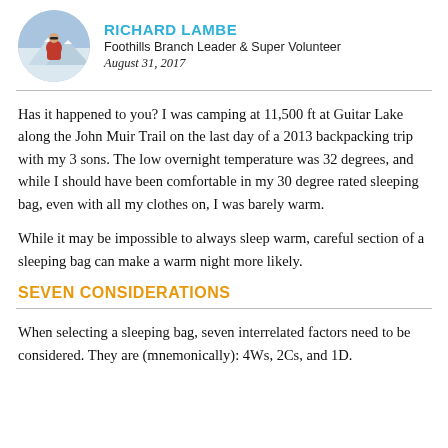[Figure (photo): Circular avatar photo of Richard Lambe, a man in a red jacket with sunglasses in a snowy mountain setting]
RICHARD LAMBE
Foothills Branch Leader & Super Volunteer
August 31, 2017
Has it happened to you? I was camping at 11,500 ft at Guitar Lake along the John Muir Trail on the last day of a 2013 backpacking trip with my 3 sons. The low overnight temperature was 32 degrees, and while I should have been comfortable in my 30 degree rated sleeping bag, even with all my clothes on, I was barely warm.
While it may be impossible to always sleep warm, careful section of a sleeping bag can make a warm night more likely.
SEVEN CONSIDERATIONS
When selecting a sleeping bag, seven interrelated factors need to be considered. They are (mnemonically): 4Ws, 2Cs, and 1D.